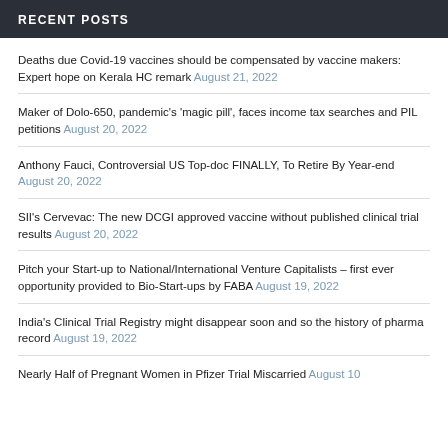RECENT POSTS
Deaths due Covid-19 vaccines should be compensated by vaccine makers: Expert hope on Kerala HC remark August 21, 2022
Maker of Dolo-650, pandemic's 'magic pill', faces income tax searches and PIL petitions August 20, 2022
Anthony Fauci, Controversial US Top-doc FINALLY, To Retire By Year-end August 20, 2022
SII's Cervevac: The new DCGI approved vaccine without published clinical trial results August 20, 2022
Pitch your Start-up to National/International Venture Capitalists – first ever opportunity provided to Bio-Start-ups by FABA August 19, 2022
India's Clinical Trial Registry might disappear soon and so the history of pharma record August 19, 2022
Nearly Half of Pregnant Women in Pfizer Trial Miscarried August 10